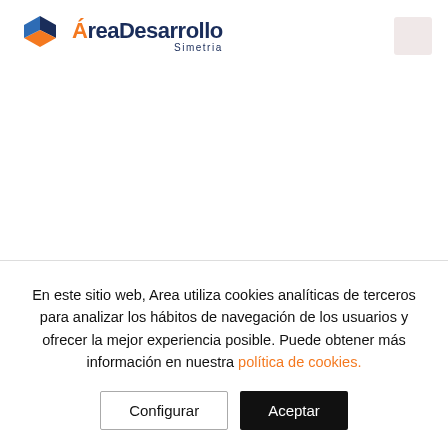[Figure (logo): ÁreaDesarrollo Simetria logo with hexagon icon in blue and orange]
En este sitio web, Area utiliza cookies analíticas de terceros para analizar los hábitos de navegación de los usuarios y ofrecer la mejor experiencia posible. Puede obtener más información en nuestra política de cookies.